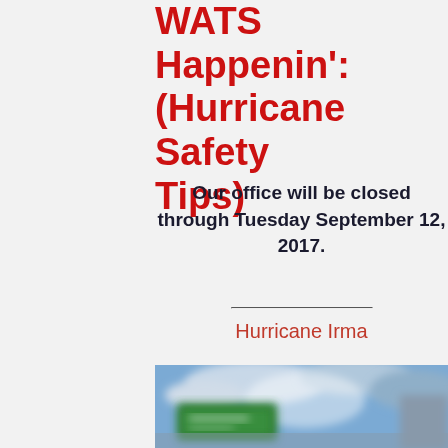WATS Happenin': (Hurricane Safety Tips)
Our office will be closed through Tuesday September 12, 2017.
Hurricane Irma
[Figure (photo): Blurred outdoor photo showing a green road sign, blue sky with clouds, and building, likely depicting hurricane conditions or evacuation route.]